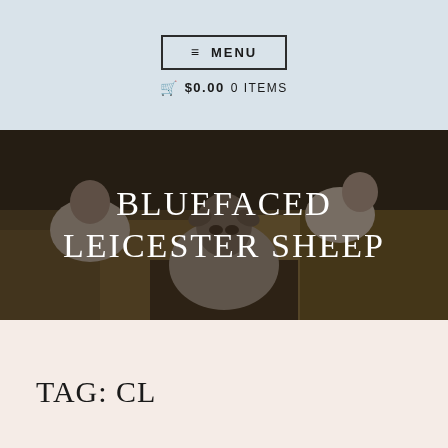≡ MENU
🛒 $0.00  0 ITEMS
[Figure (photo): Photograph of Bluefaced Leicester sheep in a field with dry grass, viewed from the front. White text overlay reads BLUEFACED LEICESTER SHEEP.]
BLUEFACED LEICESTER SHEEP
TAG: CL